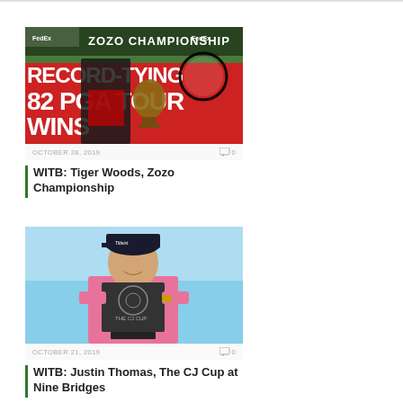[Figure (photo): Tiger Woods holding a trophy at the Zozo Championship with red and white banner reading RECORD-TYING 82 PGA TOUR WINS]
OCTOBER 28, 2019   0
WITB: Tiger Woods, Zozo Championship
[Figure (photo): Justin Thomas in pink shirt holding CJ Cup trophy against blue sky background]
OCTOBER 21, 2019   0
WITB: Justin Thomas, The CJ Cup at Nine Bridges